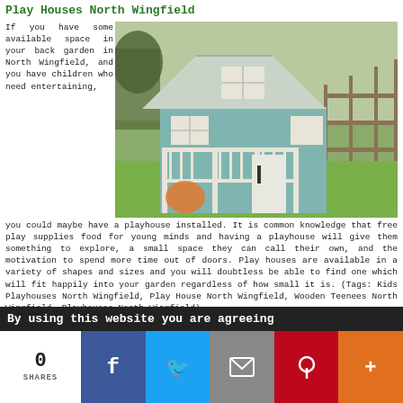Play Houses North Wingfield
If you have some available space in your back garden in North Wingfield, and you have children who need entertaining, you could maybe have a playhouse installed. It is common knowledge that free play supplies food for young minds and having a playhouse will give them something to explore, a small space they can call their own, and the motivation to spend more time out of doors. Play houses are available in a variety of shapes and sizes and you will doubtless be able to find one which will fit happily into your garden regardless of how small it is. (Tags: Kids Playhouses North Wingfield, Play House North Wingfield, Wooden Teenees North Wingfield, Playhouses North Wingfield)
[Figure (photo): A light blue wooden playhouse with white trim, a porch with white railings, a window upstairs, and a door, set in a green garden with a wooden fence in the background.]
By using this website you are agreeing
0 SHARES | Facebook | Twitter | Email | Pinterest | More